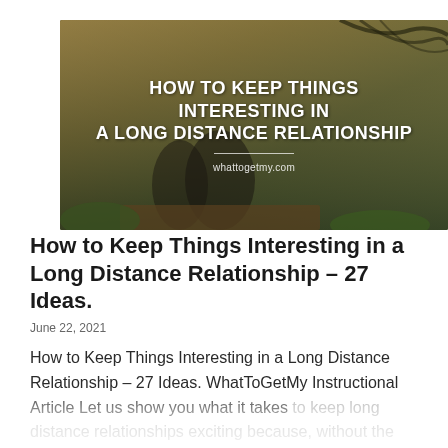[Figure (photo): Hero image showing a couple sitting outdoors in a warm natural setting with trees and foliage, overlaid with white bold text reading 'HOW TO KEEP THINGS INTERESTING IN A LONG DISTANCE RELATIONSHIP' and site URL 'whattogetmy.com']
How to Keep Things Interesting in a Long Distance Relationship – 27 Ideas.
June 22, 2021
How to Keep Things Interesting in a Long Distance Relationship – 27 Ideas. WhatToGetMy Instructional Article Let us show you what it takes to keep long distance relationships exciting because, without the commitment to keep the